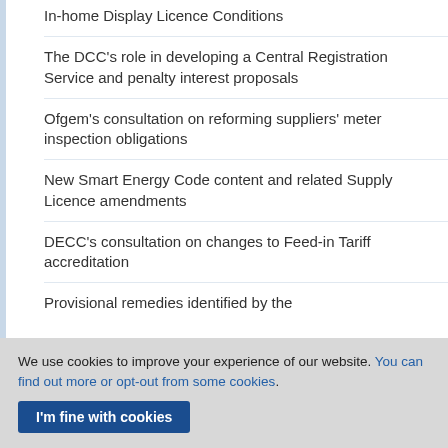In-home Display Licence Conditions
The DCC's role in developing a Central Registration Service and penalty interest proposals
Ofgem's consultation on reforming suppliers' meter inspection obligations
New Smart Energy Code content and related Supply Licence amendments
DECC's consultation on changes to Feed-in Tariff accreditation
Provisional remedies identified by the
We use cookies to improve your experience of our website. You can find out more or opt-out from some cookies.
I'm fine with cookies